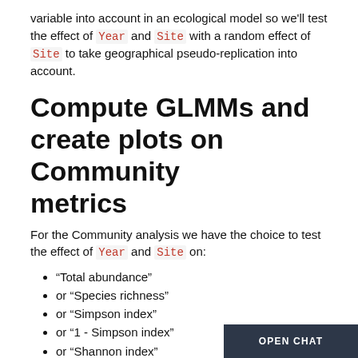variable into account in an ecological model so we'll test the effect of Year and Site with a random effect of Site to take geographical pseudo-replication into account.
Compute GLMMs and create plots on Community metrics
For the Community analysis we have the choice to test the effect of Year and Site on:
“Total abundance”
or “Species richness”
or “Simpson index”
or “1 - Simpson index”
or “Shannon index”
or “Pielou index”
or “Hill index”